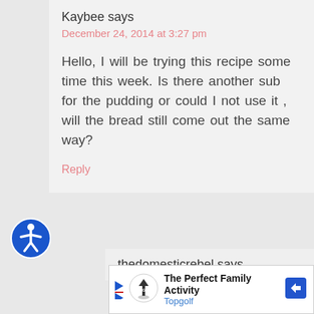Kaybee says
December 24, 2014 at 3:27 pm
Hello, I will be trying this recipe some time this week. Is there another sub for the pudding or could I not use it , will the bread still come out the same way?
Reply
[Figure (logo): Accessibility icon - blue circle with white person figure]
thedomesticrebel says
[Figure (other): Advertisement banner for Topgolf: The Perfect Family Activity with Topgolf logo and directional arrow icon]